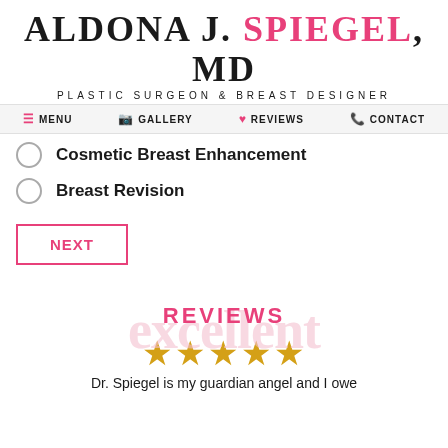ALDONA J. SPIEGEL, MD – PLASTIC SURGEON & BREAST DESIGNER
MENU | GALLERY | REVIEWS | CONTACT
Cosmetic Breast Enhancement
Breast Revision
NEXT
excellent REVIEWS
★★★★★
Dr. Spiegel is my guardian angel and I owe